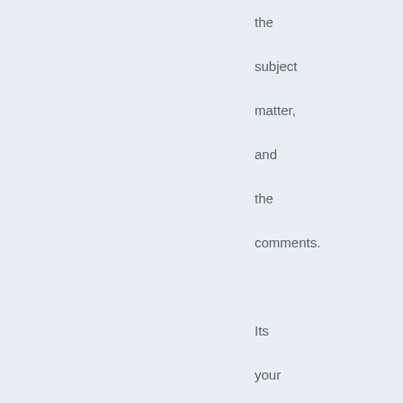the subject matter, and the comments. Its your blog, not mine. If you feel its off topic, then feel free to delete